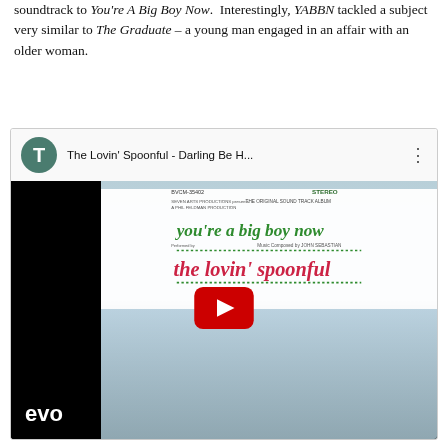soundtrack to You're A Big Boy Now. Interestingly, YABBN tackled a subject very similar to The Graduate – a young man engaged in an affair with an older woman.
[Figure (screenshot): Embedded YouTube video player showing The Lovin' Spoonful - Darling Be H... with album art for 'You're A Big Boy Now' soundtrack featuring the band and a play button overlay. Channel avatar shows letter T on teal background. 'evo' watermark visible bottom left.]